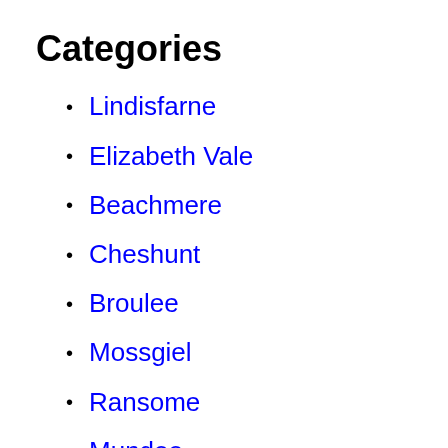Categories
Lindisfarne
Elizabeth Vale
Beachmere
Cheshunt
Broulee
Mossgiel
Ransome
Mundoo
North Macksville